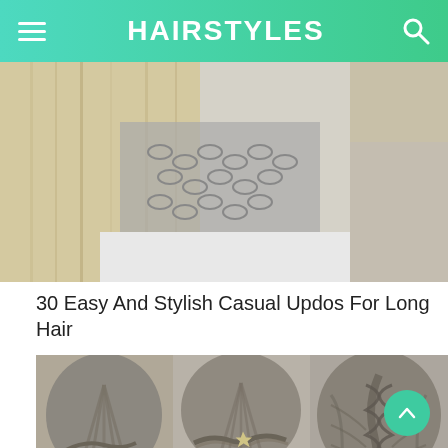HAIRSTYLES
[Figure (photo): Photo of long blonde hair with a large layered silver chain necklace on a white top]
30 Easy And Stylish Casual Updos For Long Hair
[Figure (photo): Three hairstyle examples: a twisted half-up style with starfish pins, a braided half-up style with a starfish accent, and a French braid updo]